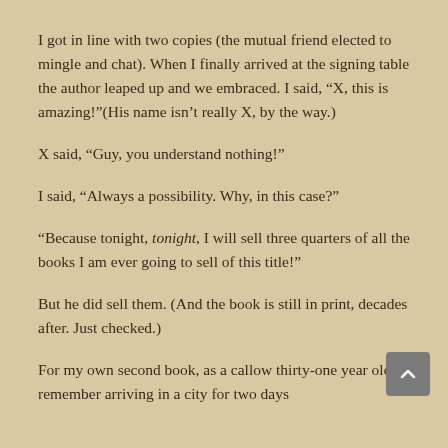I got in line with two copies (the mutual friend elected to mingle and chat). When I finally arrived at the signing table the author leaped up and we embraced. I said, “X, this is amazing!”(His name isn’t really X, by the way.)
X said, “Guy, you understand nothing!”
I said, “Always a possibility. Why, in this case?”
“Because tonight, tonight, I will sell three quarters of all the books I am ever going to sell of this title!”
But he did sell them. (And the book is still in print, decades after. Just checked.)
For my own second book, as a callow thirty-one year old, I remember arriving in a city for two days